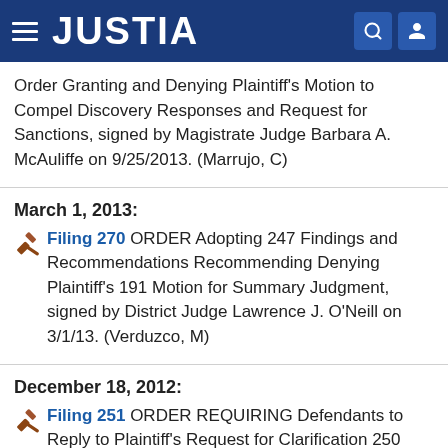JUSTIA
Order Granting and Denying Plaintiff's Motion to Compel Discovery Responses and Request for Sanctions, signed by Magistrate Judge Barbara A. McAuliffe on 9/25/2013. (Marrujo, C)
March 1, 2013:
Filing 270  ORDER Adopting 247 Findings and Recommendations Recommending Denying Plaintiff's 191 Motion for Summary Judgment, signed by District Judge Lawrence J. O'Neill on 3/1/13. (Verduzco, M)
December 18, 2012:
Filing 251  ORDER REQUIRING Defendants to Reply to Plaintiff's Request for Clarification 250 FIFTEEN-DAY DEADLINE, signed by Magistrate Judge Barbara A. McAuliffe on 12/18/12. (Hellings, J)